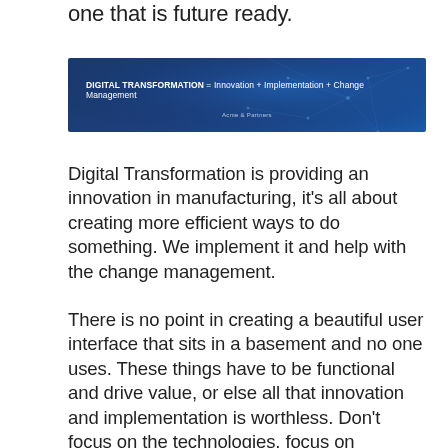one that is future ready.
[Figure (infographic): Dark blue banner with network/mesh background pattern. Text reads: DIGITAL TRANSFORMATION = Innovation + Implementation + Change Management]
Digital Transformation is providing an innovation in manufacturing, it’s all about creating more efficient ways to do something. We implement it and help with the change management.
There is no point in creating a beautiful user interface that sits in a basement and no one uses. These things have to be functional and drive value, or else all that innovation and implementation is worthless. Don’t focus on the technologies, focus on foundations that allow you to build outcomes.